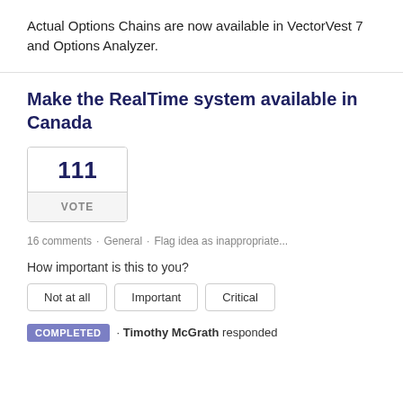Actual Options Chains are now available in VectorVest 7 and Options Analyzer.
Make the RealTime system available in Canada
111 VOTE
16 comments · General · Flag idea as inappropriate...
How important is this to you?
Not at all  Important  Critical
COMPLETED · Timothy McGrath responded